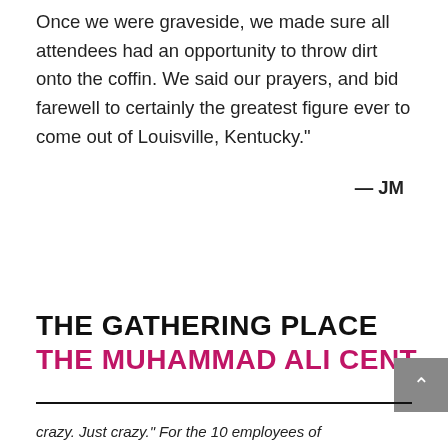Once we were graveside, we made sure all attendees had an opportunity to throw dirt onto the coffin. We said our prayers, and bid farewell to certainly the greatest figure ever to come out of Louisville, Kentucky."
— JM
THE GATHERING PLACE
THE MUHAMMAD ALI CENT
crazy. Just crazy." For the 10 employees of